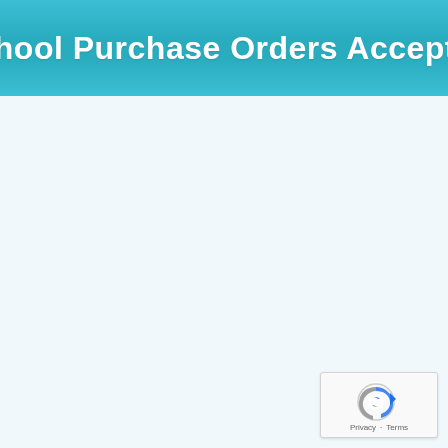★ School Purchase Orders Accepted ★
[Figure (logo): reCAPTCHA widget with circular arrow logo icon and Privacy/Terms links at bottom right corner]